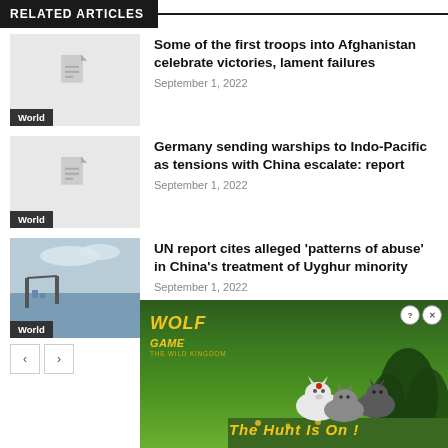RELATED ARTICLES
Some of the first troops into Afghanistan celebrate victories, lament failures — September 1, 2022 — World
Germany sending warships to Indo-Pacific as tensions with China escalate: report — September 1, 2022 — World
UN report cites alleged 'patterns of abuse' in China's treatment of Uyghur minority — September 1, 2022 — World
[Figure (photo): Bridge with water and sky — photo thumbnail for UN Uyghur article]
[Figure (photo): Wolf Game advertisement — wolves in forest scene with text 'THE HUNT IS ON!']